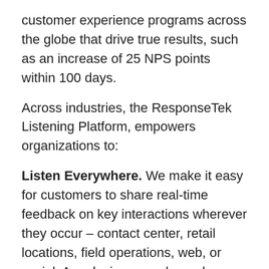customer experience programs across the globe that drive true results, such as an increase of 25 NPS points within 100 days.
Across industries, the ResponseTek Listening Platform, empowers organizations to:
Listen Everywhere. We make it easy for customers to share real-time feedback on key interactions wherever they occur – contact center, retail locations, field operations, web, or social. Any device, any channel, any language, anywhere – we deliver personalized and in the moment customer insights through structured and unstructured collection.
Learn. Using proprietary analytics, we translate customer feedback into key performance metrics, and dashboards that inform the entire organization about mission-critical